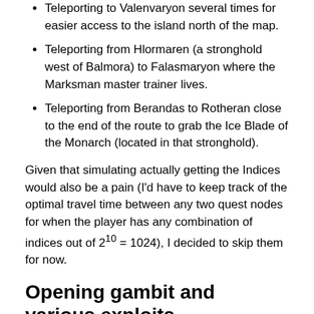Teleporting to Valenvaryon several times for easier access to the island north of the map.
Teleporting from Hlormaren (a stronghold west of Balmora) to Falasmaryon where the Marksman master trainer lives.
Teleporting from Berandas to Rotheran close to the end of the route to grab the Ice Blade of the Monarch (located in that stronghold).
Given that simulating actually getting the Indices would also be a pain (I'd have to keep track of the optimal travel time between any two quest nodes for when the player has any combination of indices out of 2^10 = 1024), I decided to skip them for now.
Opening gambit and various exploits
There are a few things that are worth doing at the beginning of the game to ensure a smooth progression.